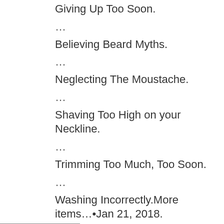Giving Up Too Soon.
…
Believing Beard Myths.
…
Neglecting The Moustache.
…
Shaving Too High on your Neckline.
…
Trimming Too Much, Too Soon.
…
Washing Incorrectly.More items…•Jan 21, 2018.